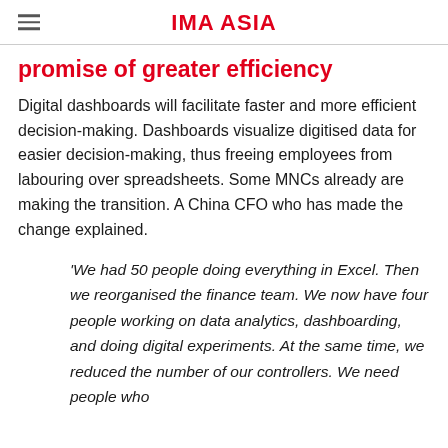IMA ASIA
promise of greater efficiency
Digital dashboards will facilitate faster and more efficient decision-making. Dashboards visualize digitised data for easier decision-making, thus freeing employees from labouring over spreadsheets. Some MNCs already are making the transition. A China CFO who has made the change explained.
'We had 50 people doing everything in Excel. Then we reorganised the finance team. We now have four people working on data analytics, dashboarding, and doing digital experiments. At the same time, we reduced the number of our controllers. We need people who